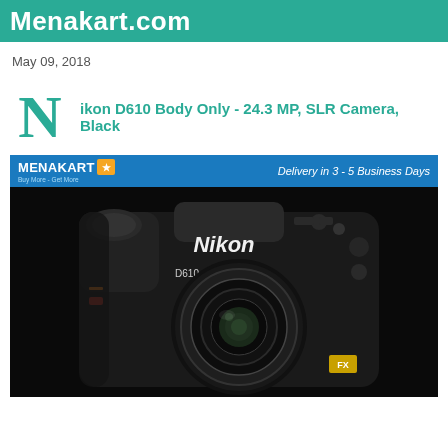Menakart.com
May 09, 2018
Nikon D610 Body Only - 24.3 MP, SLR Camera, Black
[Figure (photo): Menakart product listing banner showing a Nikon DSLR camera (D610 Body) with Menakart logo on blue banner and 'Delivery in 3 - 5 Business Days' text. Camera image on black background showing front view of Nikon DSLR with lens attached.]